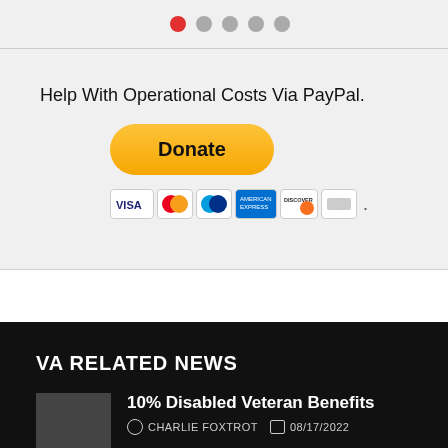[Figure (infographic): Navigation dots row: one red dot and four gray dots]
Help With Operational Costs Via PayPal.
[Figure (other): Yellow Donate button (PayPal style) with payment card icons below: VISA, Mastercard, PayPal, American Express, Discover, and one more card icon followed by a period.]
VA RELATED NEWS
[Figure (photo): Thumbnail image placeholder (dark gray)]
10% Disabled Veteran Benefits
CHARLIE FOXTROT   08/17/2022